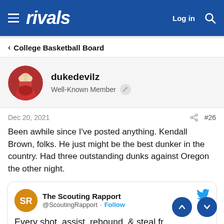rivals — Log in
< College Basketball Board
dukedevilz
Well-Known Member
Dec 20, 2021  #26
Been awhile since I've posted anything. Kendall Brown, folks. He just might be the best dunker in the country. Had three outstanding dunks against Oregon the other night.
The Scouting Rapport @ScoutingRapport · Follow
Every shot, assist, rebound, & steal fr... @BaylorMBB forward Kendall Brown's